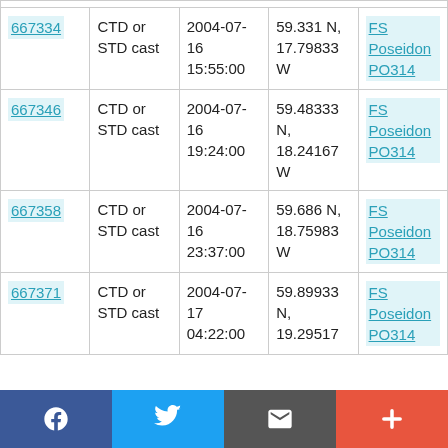| ID | Type | Date | Coordinates | Cruise |
| --- | --- | --- | --- | --- |
| 667334 | CTD or STD cast | 2004-07-16 15:55:00 | 59.331 N, 17.79833 W | FS Poseidon PO314 |
| 667346 | CTD or STD cast | 2004-07-16 19:24:00 | 59.48333 N, 18.24167 W | FS Poseidon PO314 |
| 667358 | CTD or STD cast | 2004-07-16 23:37:00 | 59.686 N, 18.75983 W | FS Poseidon PO314 |
| 667371 | CTD or STD cast | 2004-07-17 04:22:00 | 59.89933 N, 19.29517 | FS Poseidon PO314 |
Social share bar: Facebook, Twitter, Email, Plus